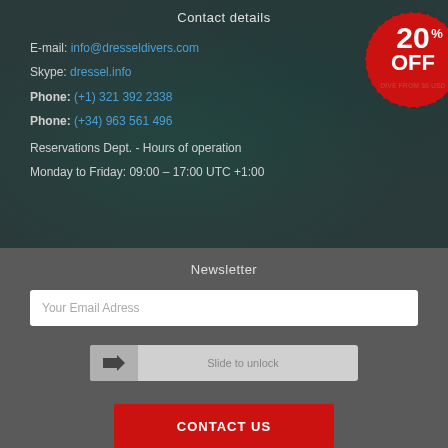Contact details
E-mail: info@dresseldivers.com
Skype: dressel.info
Phone: (+1) 321 392 2338
Phone: (+34) 963 561 496
Reservations Dept. - Hours of operation
Monday to Friday: 09:00 – 17:00 UTC +1:00
[Figure (infographic): Red circular badge with '20% OFF' text and 'DIVE FROM 30 USD' below]
Newsletter
Your Email Adress
Slide to unlock
CONTACT US